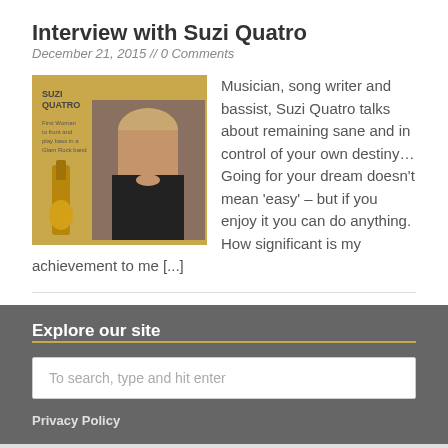Interview with Suzi Quatro
December 21, 2015 // 0 Comments
[Figure (photo): Photo of Suzi Quatro with guitar on a golden background, promotional image]
Musician, song writer and bassist, Suzi Quatro talks about remaining sane and in control of your own destiny… Going for your dream doesn't mean 'easy' – but if you enjoy it you can do anything. How significant is my achievement to me [...]
Explore our site
To search, type and hit enter
Privacy Policy